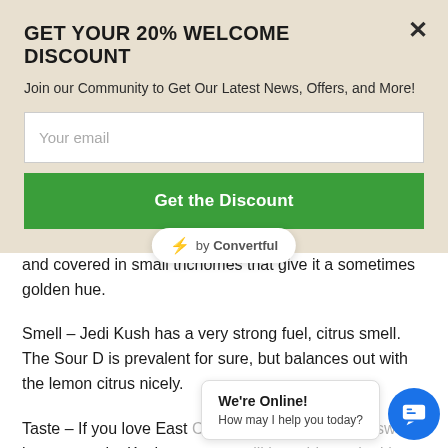GET YOUR 20% WELCOME DISCOUNT
Join our Community to Get Our Latest News, Offers, and More!
Your email
Get the Discount
[Figure (other): Convertful badge with lightning bolt icon reading 'by Convertful']
consistency to them. It will list with large orange hairs and covered in small trichomes that give it a sometimes golden hue.
Smell – Jedi Kush has a very strong fuel, citrus smell. The Sour D is prevalent for sure, but balances out with the lemon citrus nicely.
Taste – If you love East Coast Sour Diesel, with a sweet lemony earthy Kush taste, you will love this strain. It's Kush with a well rounded
We're Online!
How may I help you today?